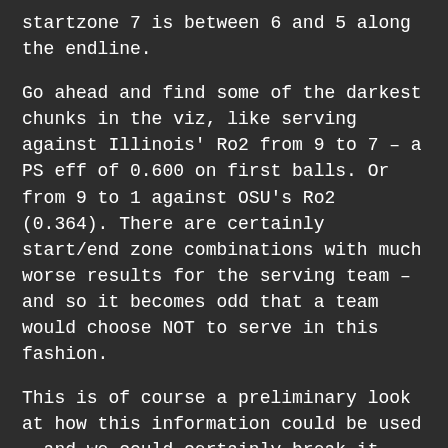startzone 7 is between 6 and 5 along the endline.
Go ahead and find some of the darkest chunks in the viz, like serving against Illinois' Ro2 from 9 to 7 – a PS eff of 0.600 on first balls. Or from 9 to 1 against OSU's Ro2 (0.364). There are certainly start/end zone combinations with much worse results for the serving team – and so it becomes odd that a team would choose NOT to serve in this fashion.
This is of course a preliminary look at how this information could be used – and we could certainly break it down farther by looking at set distribution after you serve into Illinois' Ro2 from 9 to 7. When you attack that pass-hitter, where do they go? On a perfect pass vs. a medium pass? Can we design our blocking scheme around this information. Based on the data, can we predict with a